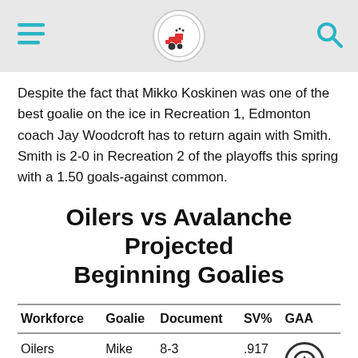[Navigation bar with hamburger menu, logo, and search icon]
Despite the fact that Mikko Koskinen was one of the best goalie on the ice in Recreation 1, Edmonton coach Jay Woodcroft has to return again with Smith. Smith is 2-0 in Recreation 2 of the playoffs this spring with a 1.50 goals-against common.
Oilers vs Avalanche Projected Beginning Goalies
| Workforce | Goalie | Document | SV% | GAA |
| --- | --- | --- | --- | --- |
| Oilers | Mike Smith | 8-3 | .917 | 2... |